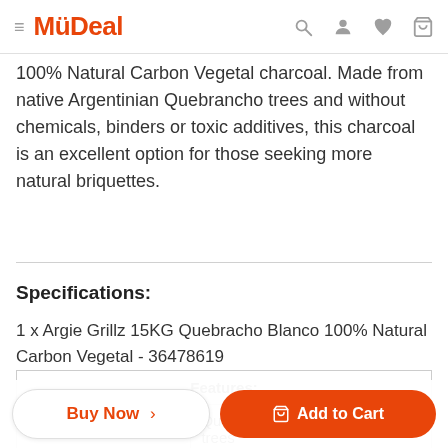MyDeal
100% Natural Carbon Vegetal charcoal. Made from native Argentinian Quebrancho trees and without chemicals, binders or toxic additives, this charcoal is an excellent option for those seeking more natural briquettes.
Specifications:
1 x Argie Grillz 15KG Quebracho Blanco 100% Natural Carbon Vegetal - 36478619
| Features: |
| --- |
| Charcoal type | Quebracho Blanco Argentinian trees |
| Charcoal burn |  |